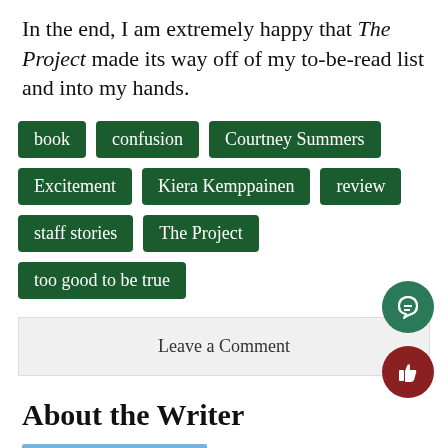In the end, I am extremely happy that The Project made its way off of my to-be-read list and into my hands.
book
confusion
Courtney Summers
Excitement
Kiera Kemppainen
review
staff stories
The Project
too good to be true
Leave a Comment
About the Writer
Kiera Kemppainen, Social Media M...